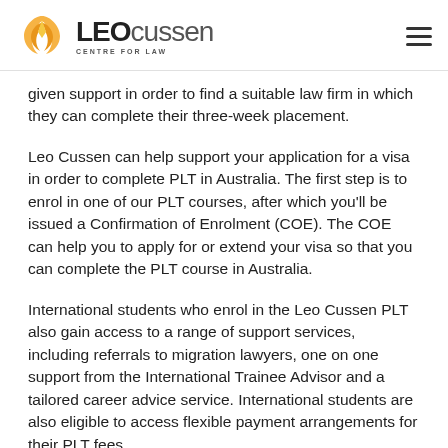Leo Cussen Centre for Law
given support in order to find a suitable law firm in which they can complete their three-week placement.
Leo Cussen can help support your application for a visa in order to complete PLT in Australia. The first step is to enrol in one of our PLT courses, after which you'll be issued a Confirmation of Enrolment (COE). The COE can help you to apply for or extend your visa so that you can complete the PLT course in Australia.
International students who enrol in the Leo Cussen PLT also gain access to a range of support services, including referrals to migration lawyers, one on one support from the International Trainee Advisor and a tailored career advice service. International students are also eligible to access flexible payment arrangements for their PLT fees.